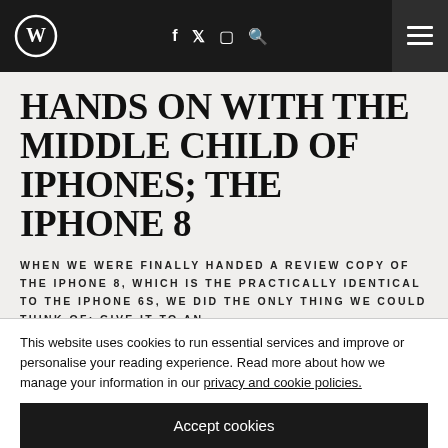W [logo] | f t ig Q [hamburger menu]
HANDS ON WITH THE MIDDLE CHILD OF IPHONES; THE IPHONE 8
WHEN WE WERE FINALLY HANDED A REVIEW COPY OF THE IPHONE 8, WHICH IS THE PRACTICALLY IDENTICAL TO THE IPHONE 6S, WE DID THE ONLY THING WE COULD THINK OF: GIVE IT TO AN
This website uses cookies to run essential services and improve or personalise your reading experience. Read more about how we manage your information in our privacy and cookie policies.
Accept cookies